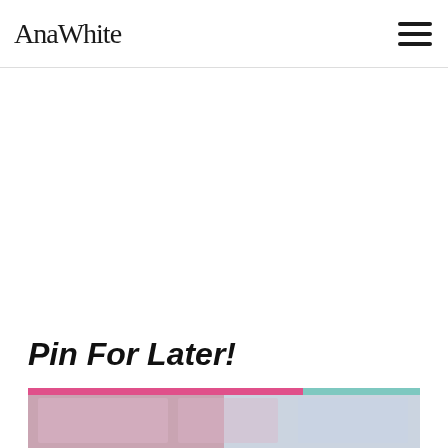AnaWhite
[Figure (other): Large white advertisement space]
Pin For Later!
[Figure (photo): Photo of children's room furniture with pink frames and teal accents, partially visible at bottom of page]